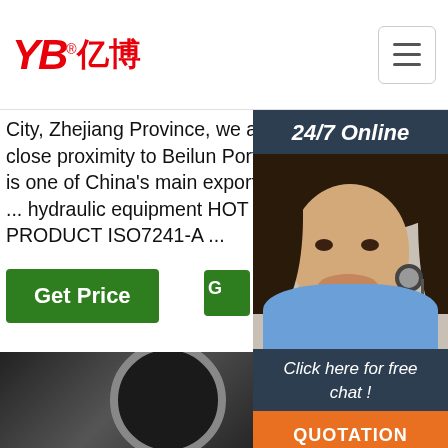[Figure (logo): YB亿博 logo in red with registered trademark symbol]
[Figure (other): Hamburger menu icon button]
City, Zhejiang Province, we are in close proximity to Beilun Port, which is one of China's main export docks. ... hydraulic equipment HOT PRODUCT ISO7241-A ...
variety of liquids, dry bulk materials and vapors including cooling water, fuels, chemicals, cosmetics, food products, adhesives, dyes, pharmaceuticals, pellets and much more media.
manufacturing machineries, and in-p
[Figure (other): 24/7 Online customer service panel with agent photo, Click here for free chat! text, and QUOTATION button]
[Figure (other): Get Price green button (left column)]
[Figure (other): Get Price green button (middle column)]
[Figure (other): TOP button with orange dots]
[Figure (photo): Photo of a hydraulic hose fitting closeup]
[Figure (photo): Photo of braided flexible hose]